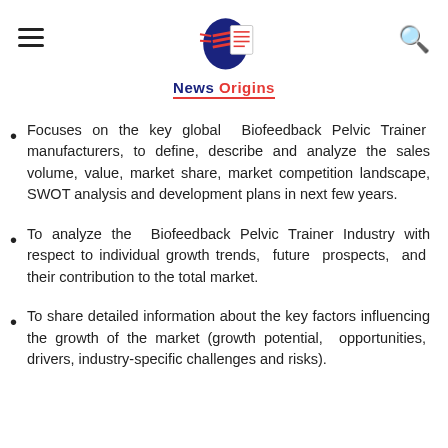News Origins
Focuses on the key global Biofeedback Pelvic Trainer manufacturers, to define, describe and analyze the sales volume, value, market share, market competition landscape, SWOT analysis and development plans in next few years.
To analyze the Biofeedback Pelvic Trainer Industry with respect to individual growth trends, future prospects, and their contribution to the total market.
To share detailed information about the key factors influencing the growth of the market (growth potential, opportunities, drivers, industry-specific challenges and risks).